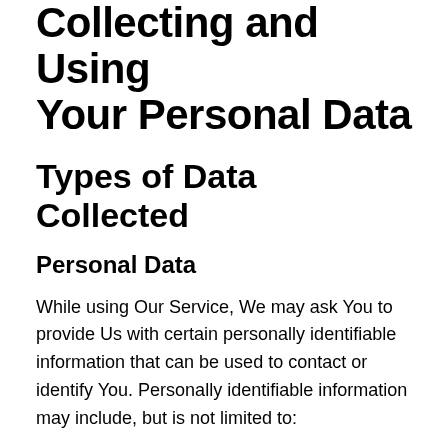Collecting and Using Your Personal Data
Types of Data Collected
Personal Data
While using Our Service, We may ask You to provide Us with certain personally identifiable information that can be used to contact or identify You. Personally identifiable information may include, but is not limited to:
Email address
First name and last name
Usage Data